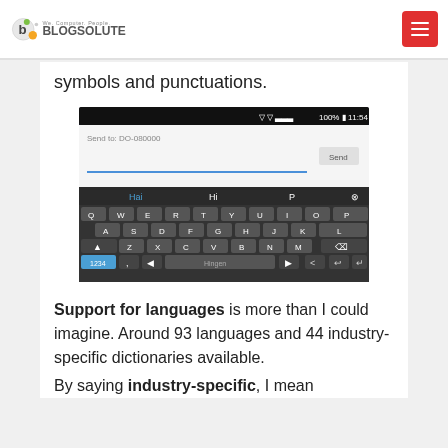Blogsolute - We. Computer. People.
symbols and punctuations.
[Figure (screenshot): A smartphone keyboard screenshot showing an SMS compose screen with 'Send to: DO-080000' and an on-screen QWERTY keyboard with autocomplete suggestions 'Hai', 'Hi', 'P'.]
Support for languages is more than I could imagine. Around 93 languages and 44 industry-specific dictionaries available.
By saying industry-specific, I mean